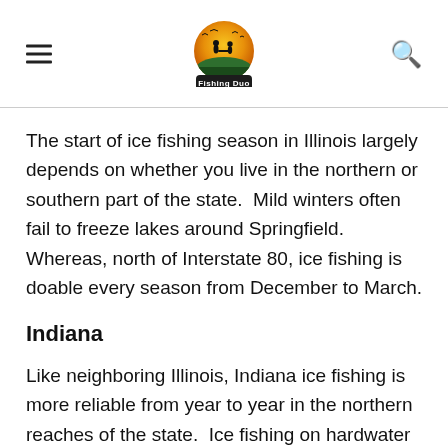Fishing Duo
The start of ice fishing season in Illinois largely depends on whether you live in the northern or southern part of the state.  Mild winters often fail to freeze lakes around Springfield.  Whereas, north of Interstate 80, ice fishing is doable every season from December to March.
Indiana
Like neighboring Illinois, Indiana ice fishing is more reliable from year to year in the northern reaches of the state.  Ice fishing on hardwater draws anglers from